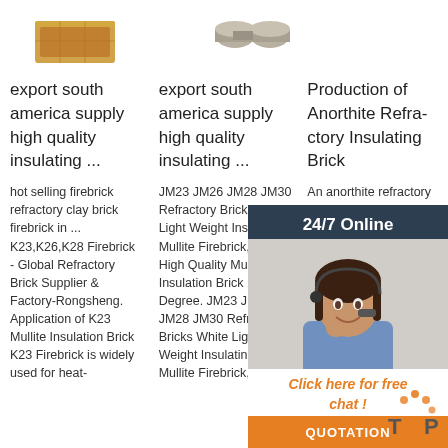[Figure (photo): Product image: orange/golden insulating brick]
[Figure (photo): Product image: metallic pipe fittings/connectors]
export south america supply high quality insulating ...
export south america supply high quality insulating ...
Production of Anorthite Refractory Insulating Brick
hot selling firebrick refractory clay brick firebrick in ... K23,K26,K28 Firebrick - Global Refractory Brick Supplier & Factory-Rongsheng. Application of K23 Mullite Insulation Brick K23 Firebrick is widely used for heat-
JM23 JM26 JM28 JM30 Refractory Bricks White Light Weight Insulating Mullite Firebrick, View High Quality Mullite Insulation Brick 1500 Degree. JM23 JM26 JM28 JM30 Refractory Bricks White Light Weight Insulating Mullite Firebrick,
An anorthite refractory insulating brick was produced from clay, paper waste, sawdust at a temperature of 1200 C. Pores in the brick were created from the burning of cellulose ...
[Figure (photo): 24/7 Online customer service representative with headset smiling]
24/7 Online
Click here for free chat !
QUOTATION
[Figure (logo): TOP logo with orange dots]